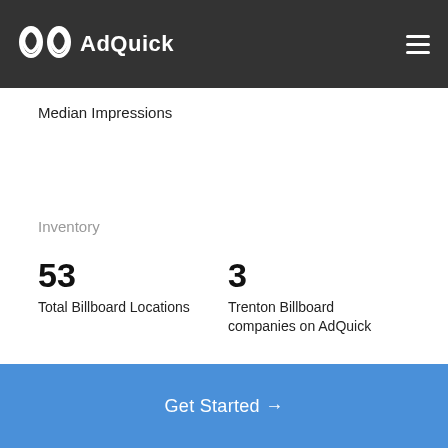AdQuick
Median Impressions
Inventory
53
Total Billboard Locations
3
Trenton Billboard companies on AdQuick
Get Started →